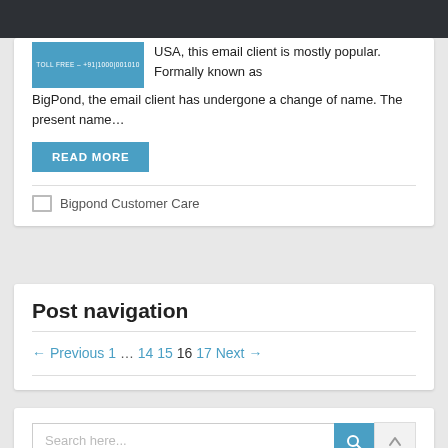[Figure (screenshot): Partial view of a webpage article excerpt with a blue thumbnail image (showing toll free number), text about email client popular in USA, formerly known as BigPond, and a READ MORE button, followed by a Bigpond Customer Care category tag]
Post navigation
← Previous 1 … 14 15 16 17 Next →
[Figure (screenshot): Search box with placeholder text 'Search here...' followed by a blue search button and a scroll-to-top button]